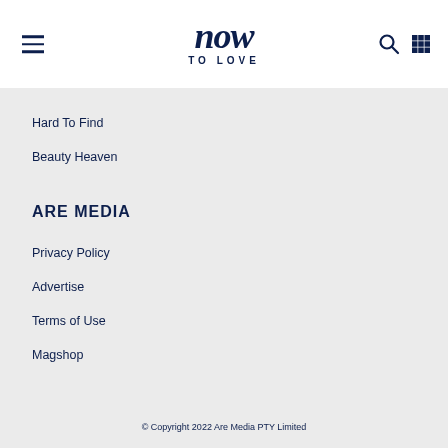now TO LOVE
Hard To Find
Beauty Heaven
ARE MEDIA
Privacy Policy
Advertise
Terms of Use
Magshop
© Copyright 2022 Are Media PTY Limited